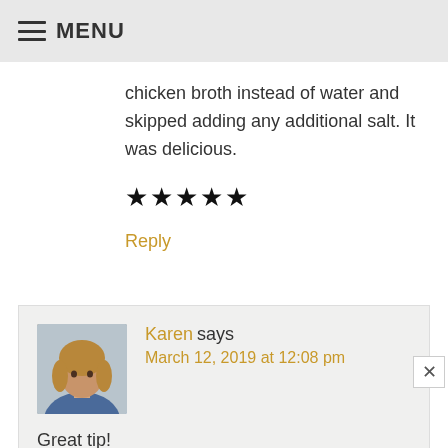MENU
chicken broth instead of water and skipped adding any additional salt. It was delicious.
★★★★★
Reply
Karen says
March 12, 2019 at 12:08 pm
Great tip!
Reply